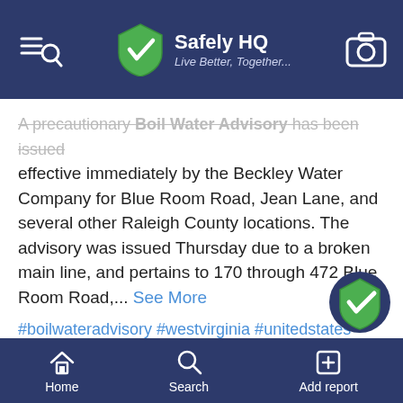Safely HQ — Live Better, Together...
A precautionary Boil Water Advisory has been issued effective immediately by the Beckley Water Company for Blue Room Road, Jean Lane, and several other Raleigh County locations. The advisory was issued Thursday due to a broken main line, and pertains to 170 through 472 Blue Room Road,... See More
#boilwateradvisory #westvirginia #unitedstates
Helpful | Add report | Follow | Share
Write a comment...
Home | Search | Add report